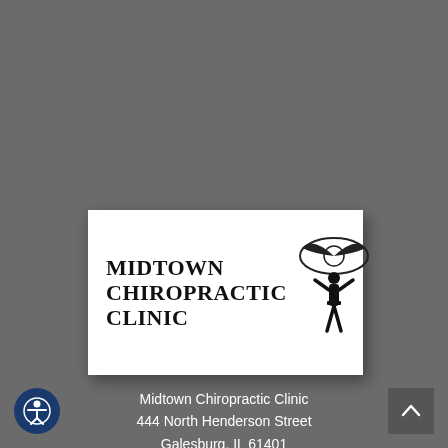[Figure (logo): Midtown Chiropractic Clinic logo: bold serif text reading MIDTOWN CHIROPRACTIC CLINIC on the left, a caduceus-style winged figure symbol on the right, on a white rectangular card background.]
Midtown Chiropractic Clinic
444 North Henderson Street
Galesburg, IL 61401
(309) 344-4030